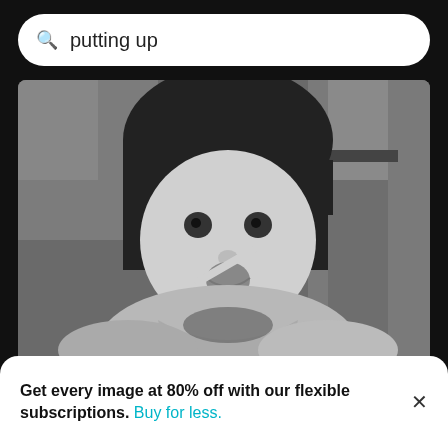putting up
[Figure (photo): Black and white portrait of a young girl putting a spoon in her mouth, street scene background]
Portrait of girl putting spoon in mouth
[Figure (photo): Partial view of second search result image showing garbage bags and a person]
Get every image at 80% off with our flexible subscriptions. Buy for less.